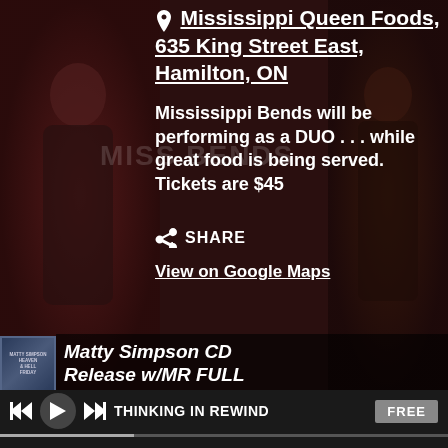Mississippi Queen Foods, 635 King Street East, Hamilton, ON
Mississippi Bends will be performing as a DUO . . . while great food is being served. Tickets are $45
SHARE
View on Google Maps
[Figure (screenshot): Album thumbnail with text overlay for Matty Simpson CD Release w/MR FULL]
Matty Simpson CD Release w/MR FULL
THINKING IN REWIND
FREE